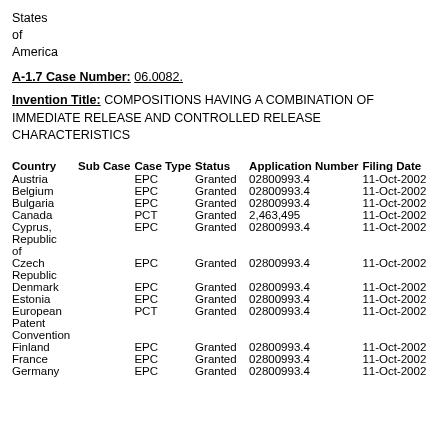States
of
America
A-1.7 Case Number: 06.0082.
Invention Title: COMPOSITIONS HAVING A COMBINATION OF IMMEDIATE RELEASE AND CONTROLLED RELEASE CHARACTERISTICS
| Country | Sub Case | Case Type | Status | Application Number | Filing Date | Patent Number |
| --- | --- | --- | --- | --- | --- | --- |
| Austria |  | EPC | Granted | 02800993.4 | 11-Oct-2002 | EP 1 443 91 |
| Belgium |  | EPC | Granted | 02800993.4 | 11-Oct-2002 | EP 1 443 91 |
| Bulgaria |  | EPC | Granted | 02800993.4 | 11-Oct-2002 | EP 1 443 91 |
| Canada |  | PCT | Granted | 2,463,495 | 11-Oct-2002 | 2,463,495 |
| Cyprus, Republic of |  | EPC | Granted | 02800993.4 | 11-Oct-2002 | EP 1 443 91 |
| Czech Republic |  | EPC | Granted | 02800993.4 | 11-Oct-2002 | EP 1 443 91 |
| Denmark |  | EPC | Granted | 02800993.4 | 11-Oct-2002 | EP 1 443 91 |
| Estonia |  | EPC | Granted | 02800993.4 | 11-Oct-2002 | EP 1 443 91 |
| European Patent Convention |  | PCT | Granted | 02800993.4 | 11-Oct-2002 | EP 1 443 91 |
| Finland |  | EPC | Granted | 02800993.4 | 11-Oct-2002 | EP 1 443 91 |
| France |  | EPC | Granted | 02800993.4 | 11-Oct-2002 | EP 1 443 91 |
| Germany |  | EPC | Granted | 02800993.4 | 11-Oct-2002 | 60322160. |